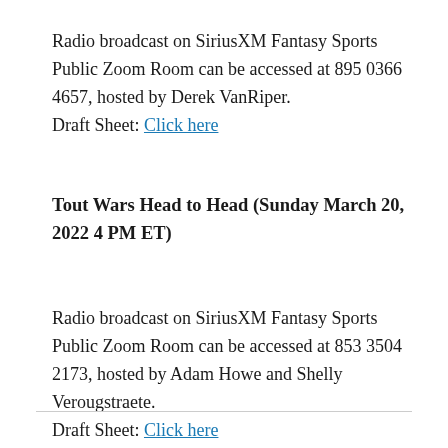Radio broadcast on SiriusXM Fantasy Sports Public Zoom Room can be accessed at 895 0366 4657, hosted by Derek VanRiper.
Draft Sheet: Click here
Tout Wars Head to Head (Sunday March 20, 2022 4 PM ET)
Radio broadcast on SiriusXM Fantasy Sports Public Zoom Room can be accessed at 853 3504 2173, hosted by Adam Howe and Shelly Verougstraete.
Draft Sheet: Click here